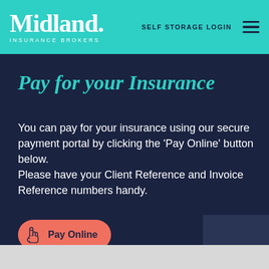Midland. Insurance Brokers — SELF STORAGE LOGIN
Pay for your Insurance
You can pay for your insurance using our secure payment portal by clicking the 'Pay Online' button below.
Please have your Client Reference and Invoice Reference numbers handy.
[Figure (other): Pay Online button with hand cursor icon, coral/salmon colored rounded pill button]